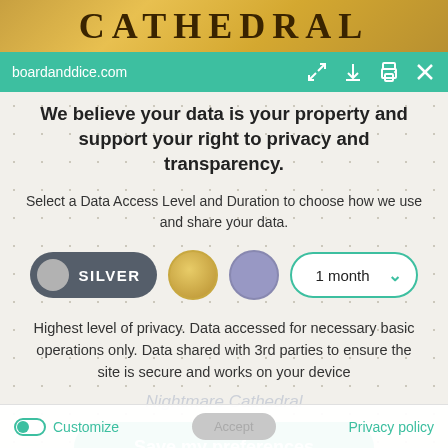[Figure (screenshot): Top banner with 'CATHEDRAL' text on gold/brown gradient background]
boardanddice.com
We believe your data is your property and support your right to privacy and transparency.
Select a Data Access Level and Duration to choose how we use and share your data.
[Figure (infographic): Privacy level selector with SILVER pill toggle, gold circle, purple circle, and 1 month dropdown]
Highest level of privacy. Data accessed for necessary basic operations only. Data shared with 3rd parties to ensure the site is secure and works on your device
Nightmare Cathedral
Save my preferences
Customize   Privacy policy